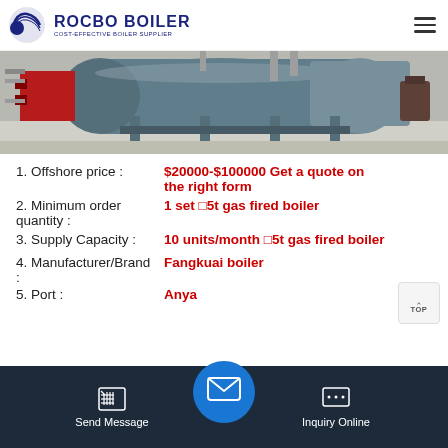ROCBO BOILER — COST-EFFECTIVE BOILER SUPPLIER
[Figure (photo): Industrial gas-fired boiler in a factory setting, showing large cylindrical blue boiler vessel with red burner attachments and piping.]
1. Offshore price : $20000-$100000 Get a quote on the right form
2. Minimum order quantity : 1 set ≥5t gas fired boiler
3. Supply Capacity : 10 units/month ≥5t gas fired boiler
4. Manufacturer/Brand : Fangkuai boiler
5. Port : Anya...
Send Message | Inquiry Online